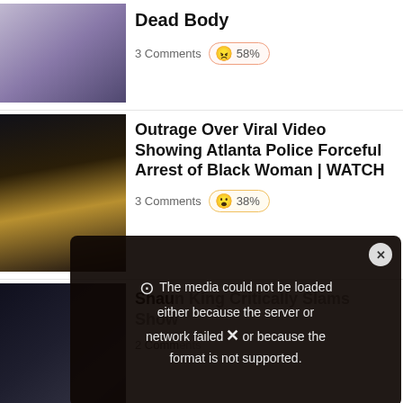[Figure (photo): Thumbnail image for 'Dead Body' article — people on a street]
Dead Body
3 Comments 😠 58%
[Figure (photo): Thumbnail of Black woman with colorful headwrap]
Outrage Over Viral Video Showing Atlanta Police Forceful Arrest of Black Woman | WATCH
3 Comments 38%
[Figure (photo): Thumbnail of man in suit holding microphone]
Shaun King Critically Slams Show
2 Comments
[Figure (screenshot): Media error overlay: 'The media could not be loaded either because the server or network failed or because the format is not supported.']
[Figure (photo): Thumbnail of street scene with fire/crash]
Driver Arrested in Deadly LA Crash – Six Killed Including Pregnant Woman and Toddler